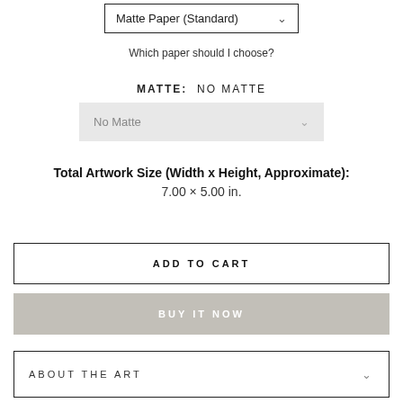Matte Paper (Standard) ∨
Which paper should I choose?
MATTE: NO MATTE
No Matte
Total Artwork Size (Width x Height, Approximate): 7.00 × 5.00 in.
ADD TO CART
BUY IT NOW
ABOUT THE ART